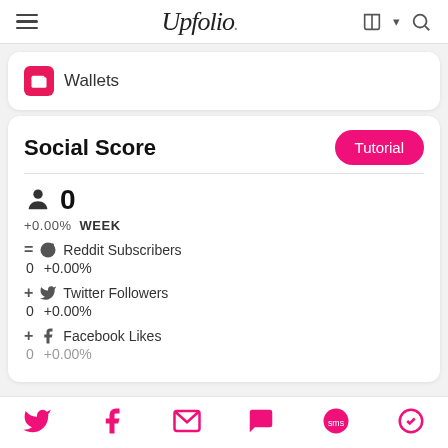Upfolio.
Wallets
Social Score
0
+0.00%  WEEK
= Reddit Subscribers
0  +0.00%
+ Twitter Followers
0  +0.00%
+ Facebook Likes
0  +0.00%